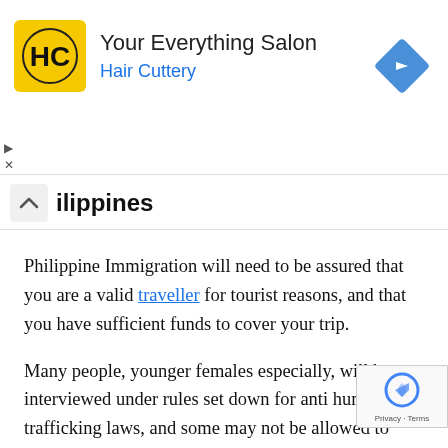[Figure (logo): Hair Cuttery 'Your Everything Salon' advertisement banner with HC logo, navigation arrow icon, and play/close controls]
ilippines
Philippine Immigration will need to be assured that you are a valid traveller for tourist reasons, and that you have sufficient funds to cover your trip.
Many people, younger females especially, will be interviewed under rules set down for anti human trafficking laws, and some may not be allowed to depart, if the Philippine Immigration Officials deem them to be at risk.